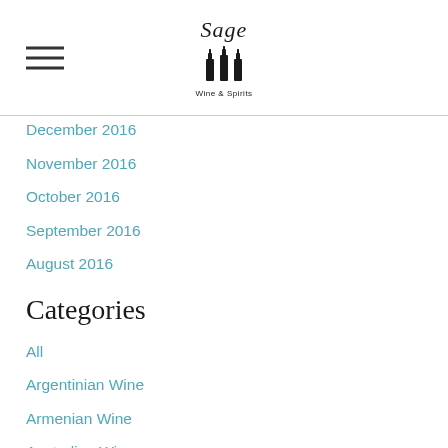Sage Wine & Spirits
December 2016
November 2016
October 2016
September 2016
August 2016
Categories
All
Argentinian Wine
Armenian Wine
Australian Wine
Chardonnay
Chilean Wine
Cider
French Wine
Gin
Italian Wine